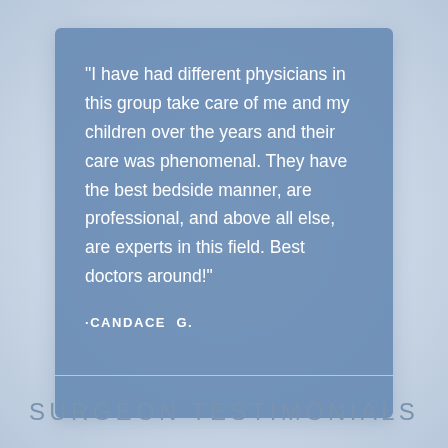"I have had different physicians in this group take care of me and my children over the years and their care was phenomenal. They have the best bedside manner, are professional, and above all else, are experts in this field. Best doctors around!"
-CANDACE G.
SURGEON TESTIMONIALS